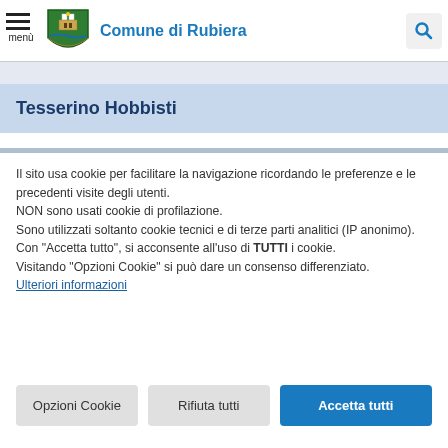Comune di Rubiera
Tesserino Hobbisti
Il sito usa cookie per facilitare la navigazione ricordando le preferenze e le precedenti visite degli utenti.
NON sono usati cookie di profilazione.
Sono utilizzati soltanto cookie tecnici e di terze parti analitici (IP anonimo).
Con "Accetta tutto", si acconsente all'uso di TUTTI i cookie.
Visitando "Opzioni Cookie" si può dare un consenso differenziato.
Ulteriori informazioni